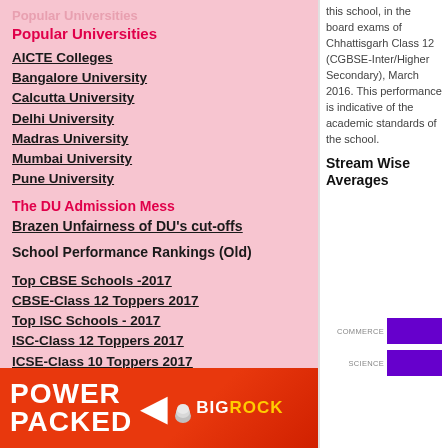Popular Universities
AICTE Colleges
Bangalore University
Calcutta University
Delhi University
Madras University
Mumbai University
Pune University
The DU Admission Mess
Brazen Unfairness of DU's cut-offs
School Performance Rankings (Old)
Top CBSE Schools -2017
CBSE-Class 12 Toppers 2017
Top ISC Schools - 2017
ISC-Class 12 Toppers 2017
ICSE-Class 10 Toppers 2017
[Figure (photo): BigRock advertisement banner with red background showing POWER PACKED text and BigRock logo]
this school, in the board exams of Chhattisgarh Class 12 (CGBSE-Inter/Higher Secondary), March 2016. This performance is indicative of the academic standards of the school.
Stream Wise Averages
[Figure (bar-chart): Stream Wise Averages]